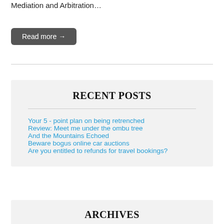Mediation and Arbitration…
Read more →
RECENT POSTS
Your 5 - point plan on being retrenched
Review: Meet me under the ombu tree
And the Mountains Echoed
Beware bogus online car auctions
Are you entitled to refunds for travel bookings?
ARCHIVES